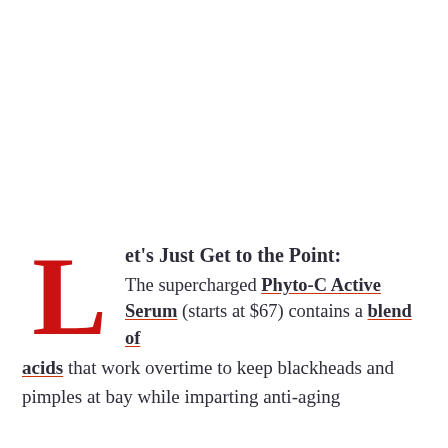Let's Just Get to the Point: The supercharged Phyto-C Active Serum (starts at $67) contains a blend of acids that work overtime to keep blackheads and pimples at bay while imparting anti-aging